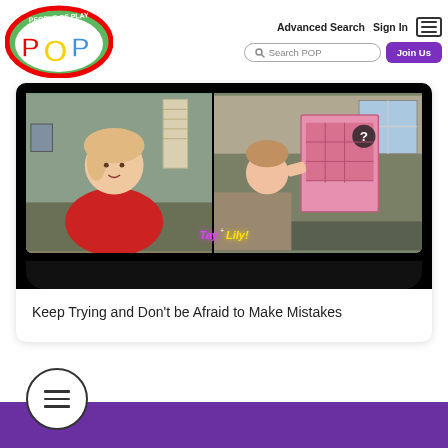[Figure (logo): People of Play POP logo - circular logo with colorful text]
Advanced Search   Sign In
Search POP
Join Us
[Figure (photo): Video player showing two children on a split screen video call. Left side shows a young girl in a red shirt. Right side shows another child holding up a pink board game box. Overlay text reads 'Tay + Lily!' in neon style. Below the video is a rounded black control bar.]
Keep Trying and Don't be Afraid to Make Mistakes
[Figure (other): Hamburger menu icon inside a circle at the bottom left corner]